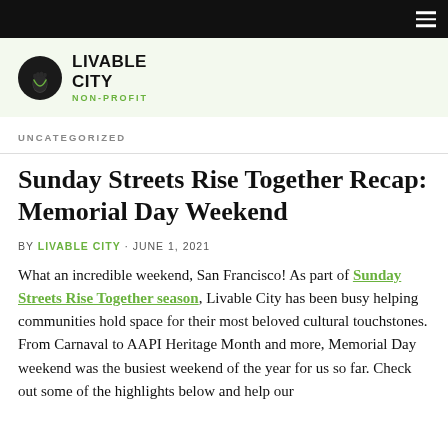[Figure (logo): Livable City Non-Profit logo: dark circle with footprint icon on left, bold black text 'LIVABLE CITY' and green text 'NON-PROFIT' on right]
UNCATEGORIZED
Sunday Streets Rise Together Recap: Memorial Day Weekend
BY LIVABLE CITY · JUNE 1, 2021
What an incredible weekend, San Francisco! As part of Sunday Streets Rise Together season, Livable City has been busy helping communities hold space for their most beloved cultural touchstones. From Carnaval to AAPI Heritage Month and more, Memorial Day weekend was the busiest weekend of the year for us so far. Check out some of the highlights below and help our